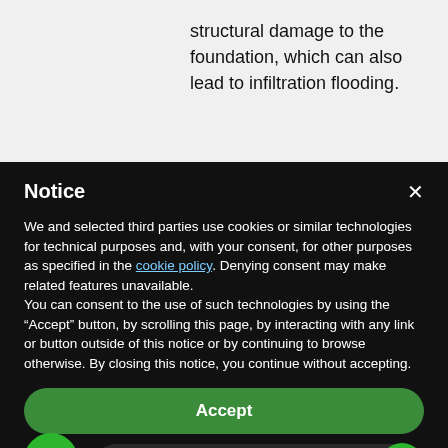structural damage to the foundation, which can also lead to infiltration flooding.
Notice
We and selected third parties use cookies or similar technologies for technical purposes and, with your consent, for other purposes as specified in the cookie policy. Denying consent may make related features unavailable.
You can consent to the use of such technologies by using the “Accept” button, by scrolling this page, by interacting with any link or button outside of this notice or by continuing to browse otherwise. By closing this notice, you continue without accepting.
Accept
Learn more and customize